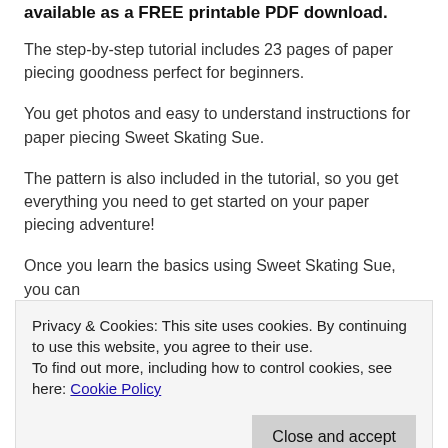available as a FREE printable PDF download.
The step-by-step tutorial includes 23 pages of paper piecing goodness perfect for beginners.
You get photos and easy to understand instructions for paper piecing Sweet Skating Sue.
The pattern is also included in the tutorial, so you get everything you need to get started on your paper piecing adventure!
Once you learn the basics using Sweet Skating Sue, you can
Privacy & Cookies: This site uses cookies. By continuing to use this website, you agree to their use.
To find out more, including how to control cookies, see here: Cookie Policy
Close and accept
Beyond, is a full-length class I created for a subscription-